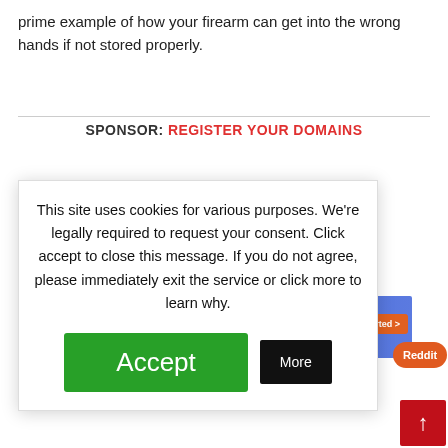prime example of how your firearm can get into the wrong hands if not stored properly.
SPONSOR: REGISTER YOUR DOMAINS
[Figure (screenshot): Screenshot of a domain registration website with purple/blue banner and a laptop illustration with Get Started button]
This site uses cookies for various purposes. We're legally required to request your consent. Click accept to close this message. If you do not agree, please immediately exit the service or click more to learn why.
Accept
More